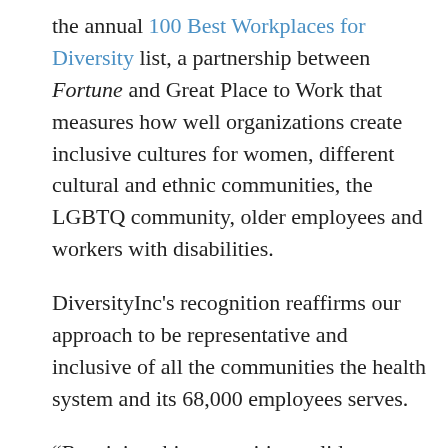the annual 100 Best Workplaces for Diversity list, a partnership between Fortune and Great Place to Work that measures how well organizations create inclusive cultures for women, different cultural and ethnic communities, the LGBTQ community, older employees and workers with disabilities.
DiversityInc's recognition reaffirms our approach to be representative and inclusive of all the communities the health system and its 68,000 employees serves.
“Receiving this recognition validates Northwell Health’s commitment to integrating the tenets of diversity, inclusion and health equity into our health care delivery model and essential to customizing